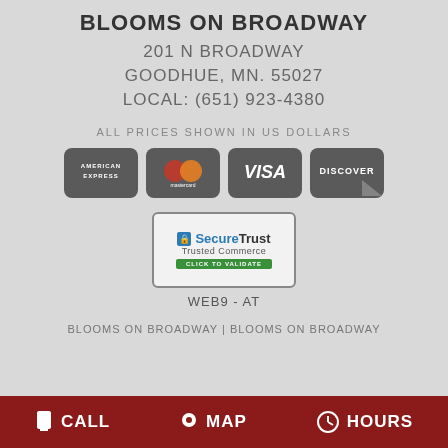BLOOMS ON BROADWAY
201 N BROADWAY
GOODHUE, MN. 55027
LOCAL: (651) 923-4380
ALL PRICES SHOWN IN US DOLLARS
[Figure (logo): Payment card logos: American Express, Mastercard, Visa, Discover]
[Figure (logo): SecureTrust Trusted Commerce badge with CLICK TO VALIDATE button]
WEB9 - AT
BLOOMS ON BROADWAY | BLOOMS ON BROADWAY
CALL   MAP   HOURS